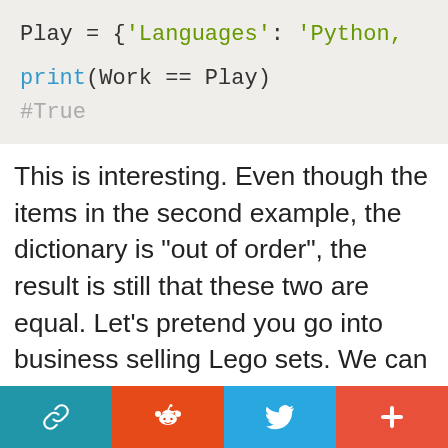[Figure (screenshot): Python code block showing: Play = {'Languages': 'Python, and print(Work == Play) with output #True]
This is interesting. Even though the items in the second example, the dictionary is “out of order”, the result is still that these two are equal. Let’s pretend you go into business selling Lego sets. We can make use of a dictionary to help with this goal. We’ll create a starting point of lego sets and their cost in a dictionary named
[Figure (infographic): Social sharing bar with four buttons: link/chain icon (teal), Reddit alien icon (orange-red), Twitter bird icon (blue), plus icon (coral-red)]